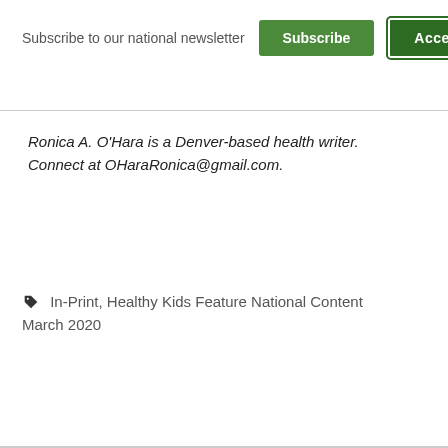×
Subscribe to our national newsletter
Subscribe
Accessibility
Ronica A. O'Hara is a Denver-based health writer. Connect at OHaraRonica@gmail.com.
In-Print, Healthy Kids Feature National Content March 2020